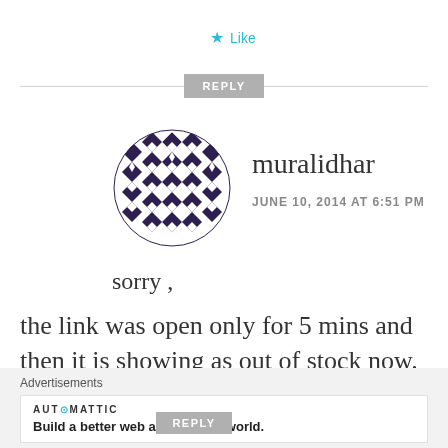★ Like
REPLY
[Figure (illustration): Circular avatar with geometric black and white diamond/star pattern]
muralidhar
JUNE 10, 2014 AT 6:51 PM
sorry ,
the link was open only for 5 mins and then it is showing as out of stock now.
★ Like
REPLY
Advertisements
AUT⊙MATTIC
Build a better web and a better world.